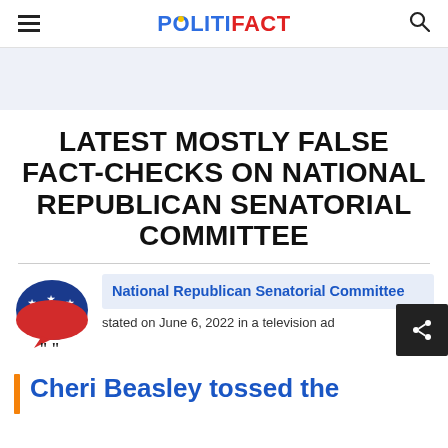POLITIFACT
LATEST MOSTLY FALSE FACT-CHECKS ON NATIONAL REPUBLICAN SENATORIAL COMMITTEE
[Figure (logo): Republican elephant party symbol with speech bubble and quotation marks]
National Republican Senatorial Committee
stated on June 6, 2022 in a television ad
Cheri Beasley tossed the